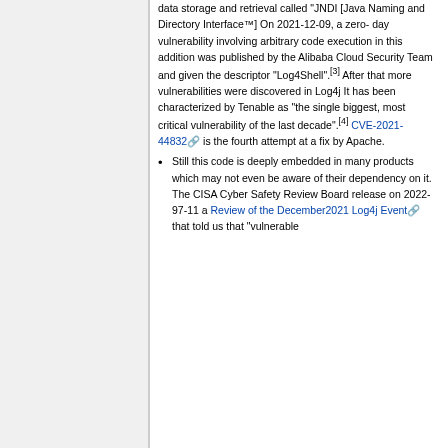data storage and retrieval called "JNDI [Java Naming and Directory Interface™] On 2021-12-09, a zero-day vulnerability involving arbitrary code execution in this addition was published by the Alibaba Cloud Security Team and given the descriptor "Log4Shell".[3] After that more vulnerabilities were discovered in Log4j It has been characterized by Tenable as "the single biggest, most critical vulnerability of the last decade".[4] CVE-2021-44832 is the fourth attempt at a fix by Apache.
Still this code is deeply embedded in many products which may not even be aware of their dependency on it. The CISA Cyber Safety Review Board release on 2022-97-11 a Review of the December2021 Log4j Event that told us that "vulnerable